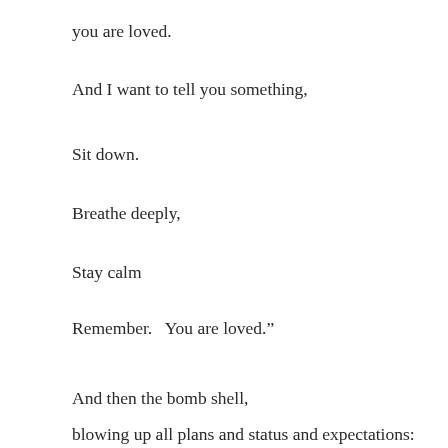you are loved.
And I want to tell you something,
Sit down.
Breathe deeply,
Stay calm
Remember.   You are loved.”
And then the bomb shell,
blowing up all plans and status and expectations: